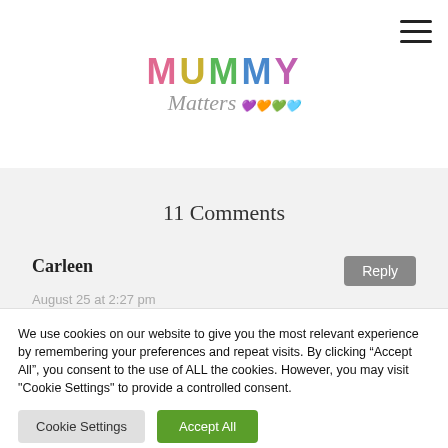MUMMY Matters
11 Comments
Carleen
August 25 at 2:27 pm
What a great weekend! Your room looks like it was
We use cookies on our website to give you the most relevant experience by remembering your preferences and repeat visits. By clicking “Accept All”, you consent to the use of ALL the cookies. However, you may visit "Cookie Settings" to provide a controlled consent.